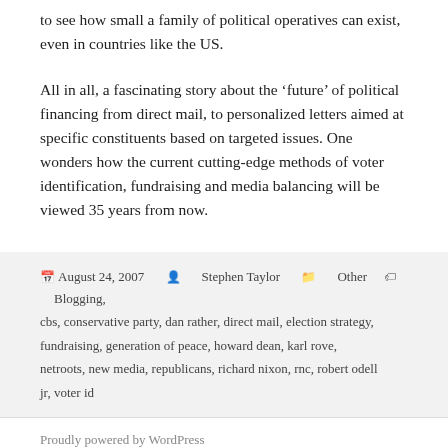to see how small a family of political operatives can exist, even in countries like the US.
All in all, a fascinating story about the ‘future’ of political financing from direct mail, to personalized letters aimed at specific constituents based on targeted issues. One wonders how the current cutting-edge methods of voter identification, fundraising and media balancing will be viewed 35 years from now.
August 24, 2007   Stephen Taylor   Other   Blogging, cbs, conservative party, dan rather, direct mail, election strategy, fundraising, generation of peace, howard dean, karl rove, netroots, new media, republicans, richard nixon, rnc, robert odell jr, voter id
Proudly powered by WordPress